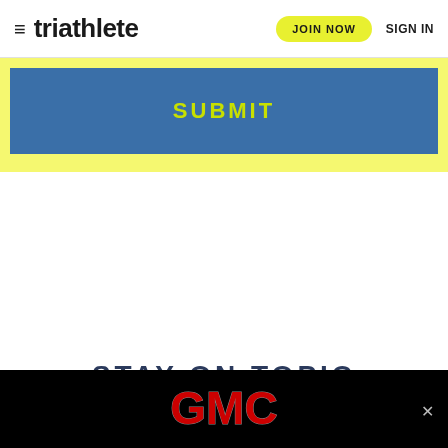triathlete  JOIN NOW  SIGN IN
[Figure (screenshot): Blue SUBMIT button with yellow-green text on a yellow-green background]
STAY ON TOPIC
[Figure (logo): GMC logo in red on black advertisement banner with close button]